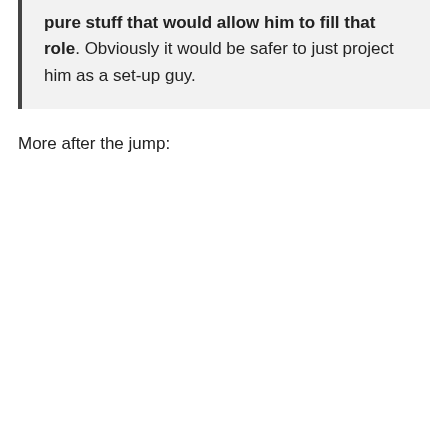pure stuff that would allow him to fill that role. Obviously it would be safer to just project him as a set-up guy.
More after the jump: